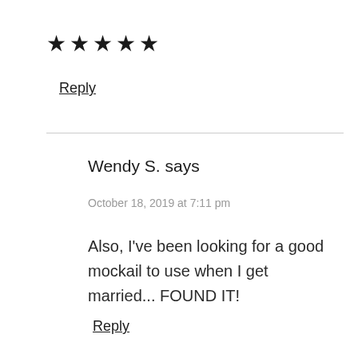★★★★★
Reply
Wendy S. says
October 18, 2019 at 7:11 pm
Also, I've been looking for a good mockail to use when I get married... FOUND IT!
Reply